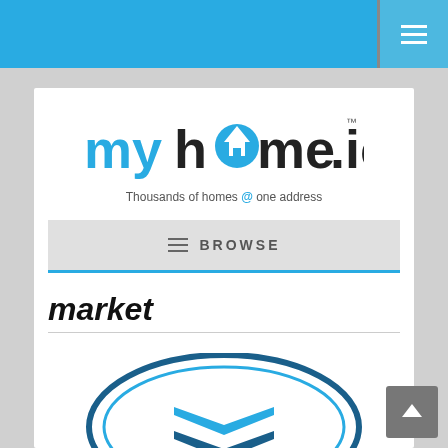[Figure (logo): myhome.ie website screenshot showing logo, browse navigation, and market section with a shield/badge logo at the bottom]
Thousands of homes @ one address
BROWSE
market